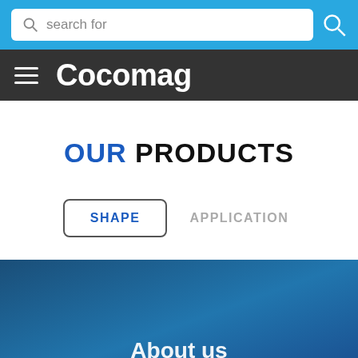search for
Cocomag
OUR PRODUCTS
SHAPE
APPLICATION
About us